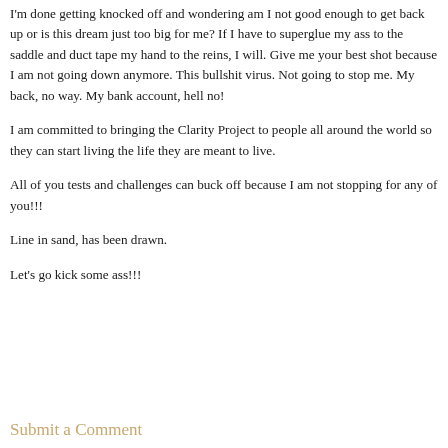I'm done getting knocked off and wondering am I not good enough to get back up or is this dream just too big for me? If I have to superglue my ass to the saddle and duct tape my hand to the reins, I will. Give me your best shot because I am not going down anymore. This bullshit virus. Not going to stop me. My back, no way. My bank account, hell no!
I am committed to bringing the Clarity Project to people all around the world so they can start living the life they are meant to live.
All of you tests and challenges can buck off because I am not stopping for any of you!!!
Line in sand, has been drawn.
Let's go kick some ass!!!
Submit a Comment